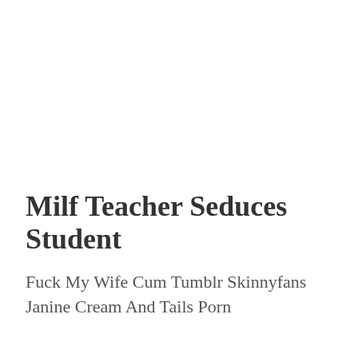Milf Teacher Seduces Student
Fuck My Wife Cum Tumblr Skinnyfans Janine Cream And Tails Porn